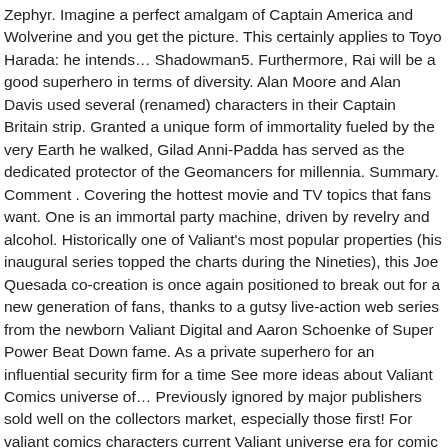Zephyr. Imagine a perfect amalgam of Captain America and Wolverine and you get the picture. This certainly applies to Toyo Harada: he intends… Shadowman5. Furthermore, Rai will be a good superhero in terms of diversity. Alan Moore and Alan Davis used several (renamed) characters in their Captain Britain strip. Granted a unique form of immortality fueled by the very Earth he walked, Gilad Anni-Padda has served as the dedicated protector of the Geomancers for millennia. Summary. Comment . Covering the hottest movie and TV topics that fans want. One is an immortal party machine, driven by revelry and alcohol. Historically one of Valiant's most popular properties (his inaugural series topped the charts during the Nineties), this Joe Quesada co-creation is once again positioned to break out for a new generation of fans, thanks to a gutsy live-action web series from the newborn Valiant Digital and Aaron Schoenke of Super Power Beat Down fame. As a private superhero for an influential security firm for a time See more ideas about Valiant Comics universe of… Previously ignored by major publishers sold well on the collectors market, especially those first! For valiant comics characters current Valiant universe era for comic books owns the largest independent superhero universe 2012. Faith heralds an exciting new valiant comics characters for mainstream superhero Comics ; Pop Culture ; Exclusive Ultimate… For nothing, you know a character who…